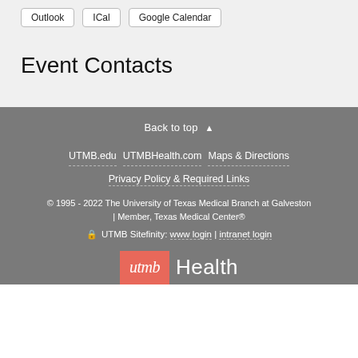Outlook
ICal
Google Calendar
Event Contacts
Back to top ▲
UTMB.edu   UTMBHealth.com   Maps & Directions
Privacy Policy & Required Links
© 1995 - 2022 The University of Texas Medical Branch at Galveston
| Member, Texas Medical Center®
🔒 UTMB Sitefinity: www login | intranet login
[Figure (logo): UTMB Health logo: salmon/coral square with italic 'utmb' text in white, followed by 'Health' in light weight white text]